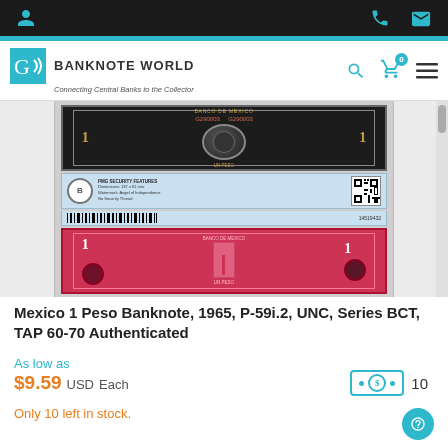Banknote World — Connecting Central Banks to the Collector
[Figure (photo): Mexico 1 Peso banknote front (black/dark design with gold serial numbers G290003, Banco de Mexico text, central medallion) and back (pink/red design with monument, corner numbers 1) with TAP authentication label strip in between.]
Mexico 1 Peso Banknote, 1965, P-59i.2, UNC, Series BCT, TAP 60-70 Authenticated
As low as
$9.59 USD Each    10
Only 10 left in stock.